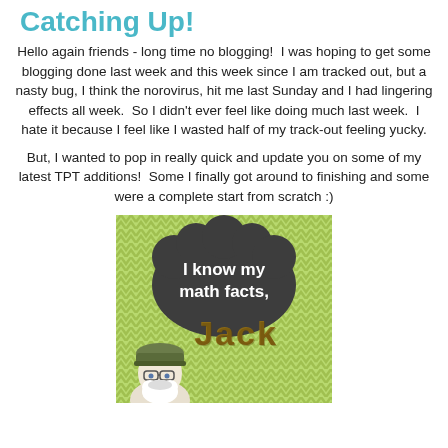Catching Up!
Hello again friends - long time no blogging!  I was hoping to get some blogging done last week and this week since I am tracked out, but a nasty bug, I think the norovirus, hit me last Sunday and I had lingering effects all week.  So I didn't ever feel like doing much last week.  I hate it because I feel like I wasted half of my track-out feeling yucky.
But, I wanted to pop in really quick and update you on some of my latest TPT additions!  Some I finally got around to finishing and some were a complete start from scratch :)
[Figure (illustration): An illustrated book cover or product image on a green chevron background. A dark gray cloud/bubble shape contains the white text 'I know my math facts,' and below it in large brown/gold letters says 'Jack'. A cartoon character of a bearded man wearing a camo hat and glasses is visible at the bottom left of the image.]